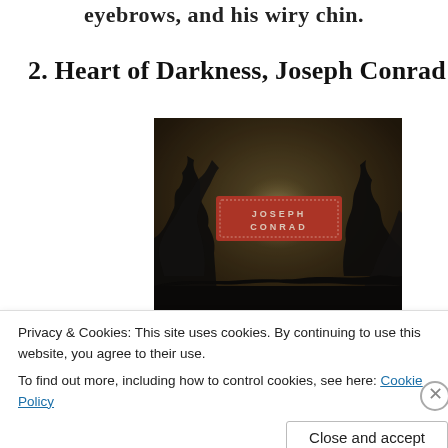eyebrows, and his wiry chin.
2. Heart of Darkness, Joseph Conrad
[Figure (photo): Book cover of Heart of Darkness by Joseph Conrad (Everyman's Library edition). Dark atmospheric image of trees silhouetted against a dusky sky with a red label in the center reading JOSEPH CONRAD.]
Privacy & Cookies: This site uses cookies. By continuing to use this website, you agree to their use.
To find out more, including how to control cookies, see here: Cookie Policy
Close and accept